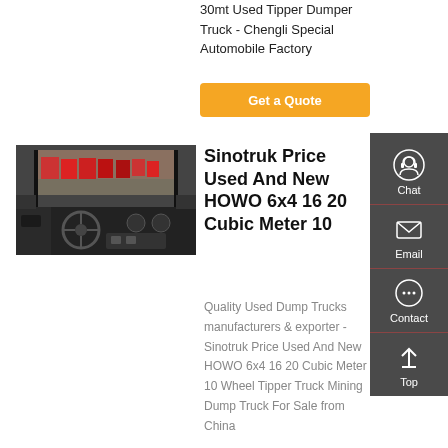30mt Used Tipper Dumper Truck - Chengli Special Automobile Factory
Get a Quote
[Figure (photo): Interior cab view of a HOWO dump truck showing dashboard and steering wheel, with trucks visible through windshield in background]
Sinotruk Price Used And New HOWO 6x4 16 20 Cubic Meter 10
Quality Used Dump Trucks manufacturers & exporter - Sinotruk Price Used And New HOWO 6x4 16 20 Cubic Meter 10 Wheel Tipper Truck Mining Dump Truck For Sale from China
[Figure (other): Sidebar with Chat, Email, Contact, and Top navigation icons on dark grey background]